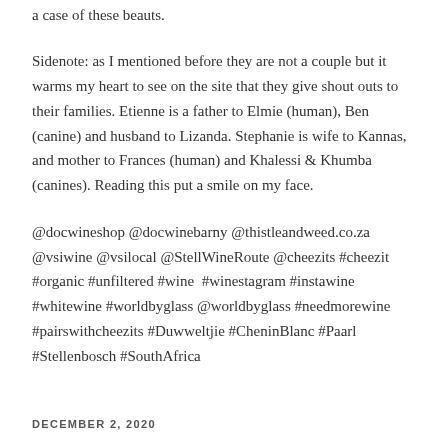a case of these beauts.
Sidenote: as I mentioned before they are not a couple but it warms my heart to see on the site that they give shout outs to their families. Etienne is a father to Elmie (human), Ben (canine) and husband to Lizanda. Stephanie is wife to Kannas, and mother to Frances (human) and Khalessi & Khumba (canines). Reading this put a smile on my face.
@docwineshop @docwinebarny @thistleandweed.co.za @vsiwine @vsilocal @StellWineRoute @cheezits #cheezit #organic #unfiltered #wine  #winestagram #instawine #whitewine #worldbyglass @worldbyglass #needmorewine #pairswithcheezits #Duwweltjie #CheninBlanc #Paarl #Stellenbosch #SouthAfrica
DECEMBER 2, 2020